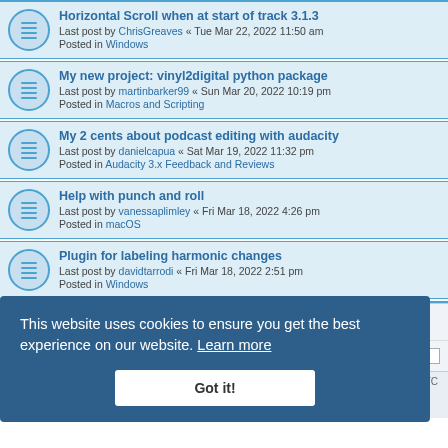Horizontal Scroll when at start of track 3.1.3 — Last post by ChrisGreaves « Tue Mar 22, 2022 11:50 am — Posted in Windows
My new project: vinyl2digital python package — Last post by martinbarker99 « Sun Mar 20, 2022 10:19 pm — Posted in Macros and Scripting
My 2 cents about podcast editing with audacity — Last post by danielcapua « Sat Mar 19, 2022 11:32 pm — Posted in Audacity 3.x Feedback and Reviews
Help with punch and roll — Last post by vanessaplimley « Fri Mar 18, 2022 4:26 pm — Posted in macOS
Plugin for labeling harmonic changes — Last post by davidtarrodi « Fri Mar 18, 2022 2:51 pm — Posted in Windows
Search found more than 1000 matches | 1 2 3 4 5 … 40 > | Board index | Contact us | Delete cookies | All times are UTC | Powered by phpBB® Forum Software © phpBB Limited | Privacy | Terms
This website uses cookies to ensure you get the best experience on our website. Learn more